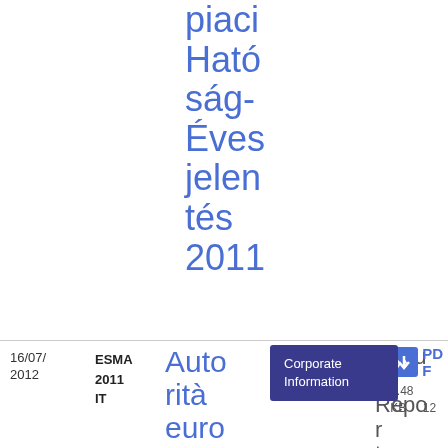piaci Hatóság- Éves jelentés 2011
16/07/ 2012
ESMA 2011 IT
Autorità europea degli strumenti finanziari dei mercati- Rela
Corporate Information
Annual Report
PDF 3.48 KB 12